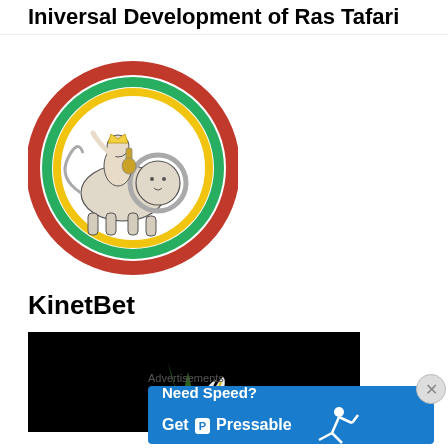Iniversal Development of Ras Tafari
[Figure (logo): Rastafari lion of Judah with rider playing guitar, surrounded by red, gold, and green circular rainbow rings — black and white illustration]
KinetBet
[Figure (photo): Dark/black background image with a white calla lily flower and green leaves visible — video thumbnail]
Advertisements
[Figure (infographic): Blue advertisement banner: Need Speed? Get P Pressable — with a running/flying person graphic on the right side]